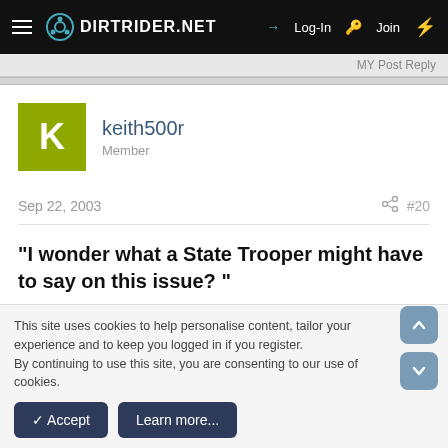DIRTRIDER.NET  Log-In  Join
MY Post Reply
keith500r
Member
Sep 22, 2003  #20
"I wonder what a State Trooper might have to say on this issue? "
This site uses cookies to help personalise content, tailor your experience and to keep you logged in if you register.
By continuing to use this site, you are consenting to our use of cookies.